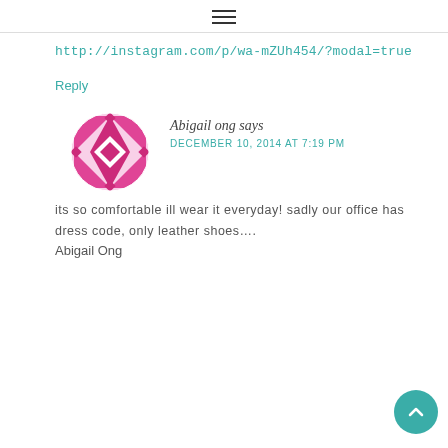≡
http://instagram.com/p/wa-mZUh454/?modal=true
Reply
Abigail ong says
DECEMBER 10, 2014 AT 7:19 PM
its so comfortable ill wear it everyday! sadly our office has dress code, only leather shoes….
Abigail Ong